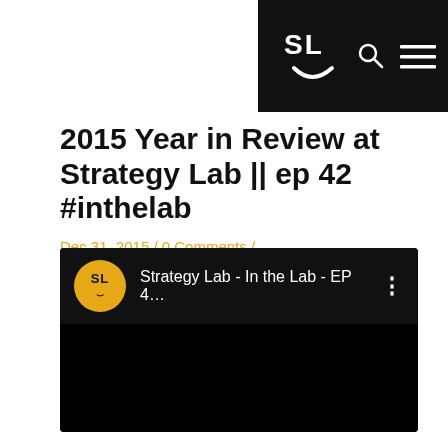SL [logo with smiley face, search icon, menu icon] — Strategy Lab navigation bar
2015 Year in Review at Strategy Lab || ep 42 #inthelab
Dec 31, 2015 / 0 Comments / in Marketing, Regina, Stories, Video / by Jeph
[Figure (screenshot): Embedded YouTube-style video player showing Strategy Lab channel. Channel icon is a yellow circle with 'SL' text and smiley face. Video title reads 'Strategy Lab - In the Lab - EP 4...' with a three-dot menu icon. Video content area is black/dark.]